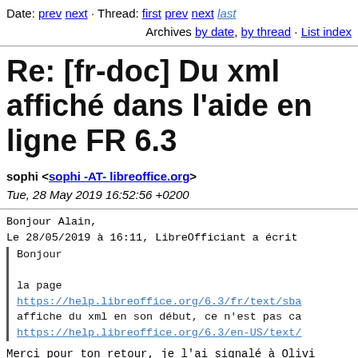Date: prev next · Thread: first prev next last
Archives by date, by thread · List index
Re: [fr-doc] Du xml affiché dans l'aide en ligne FR 6.3
sophi <sophi -AT- libreoffice.org>
Tue, 28 May 2019 16:52:56 +0200
Bonjour Alain,
Le 28/05/2019 à 16:11, LibreOfficiant a écrit
  Bonjour

  la page
  https://help.libreoffice.org/6.3/fr/text/sba
  affiche du xml en son début, ce n'est pas ca
  https://help.libreoffice.org/6.3/en-US/text/

Merci pour ton retour, je l'ai signalé à Olivi
problème lors de la transformation.